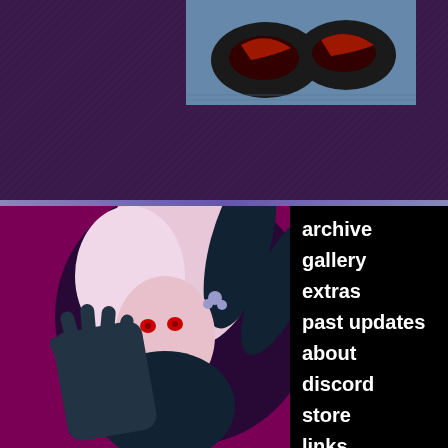[Figure (illustration): Top portion of a webcomic page with dark purple textured background and a comic panel showing crab claws or dark creature on a surface, partial view]
[Figure (illustration): Character illustration of a jester/harlequin figure with pink and white hair, dark costume with bells, red eyes, and a gloved hand raised toward viewer, on magenta background]
archive
gallery
extras
past updates
about
discord
store
links
Check out Flipside in Brazillian Portuguese!
© Brion Foulke 2020. All righ